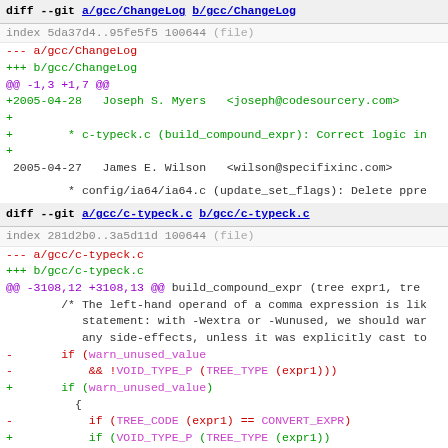diff --git a/gcc/ChangeLog b/gcc/ChangeLog
index 5da37d4..95fe5f5 100644 (file)
--- a/gcc/ChangeLog
+++ b/gcc/ChangeLog
@@ -1,3 +1,7 @@
+2005-04-28   Joseph S. Myers   <joseph@codesourcery.com>
+
+        * c-typeck.c (build_compound_expr): Correct logic in
+
2005-04-27   James E. Wilson   <wilson@specifixinc.com>
* config/ia64/ia64.c (update_set_flags): Delete ppre
diff --git a/gcc/c-typeck.c b/gcc/c-typeck.c
index 281d2b0..3a5d11d 100644 (file)
--- a/gcc/c-typeck.c
+++ b/gcc/c-typeck.c
@@ -3108,12 +3108,13 @@ build_compound_expr (tree expr1, tre
/* The left-hand operand of a comma expression is lik
statement: with -Wextra or -Wunused, we should war
any side-effects, unless it was explicitly cast to
-       if (warn_unused_value
-           && !VOID_TYPE_P (TREE_TYPE (expr1)))
+       if (warn_unused_value)
{
-           if (TREE_CODE (expr1) == CONVERT_EXPR)
+           if (VOID_TYPE_P (TREE_TYPE (expr1))
+               && TREE_CODE (expr1) == CONVERT_EXPR)
; /* (void) a, b */
-           else if (TREE_CODE (expr1) == COMPOUND_EXPR
+           else if (VOID_TYPE_P (TREE_TYPE (expr1))